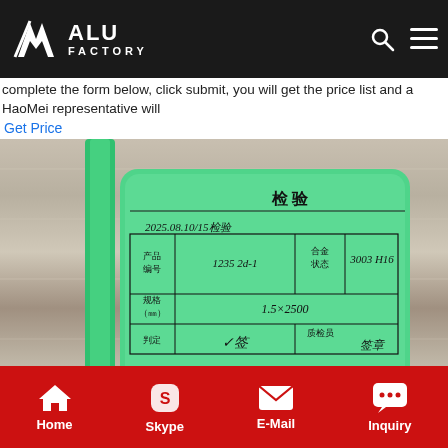ALU FACTORY
complete the form below, click submit, you will get the price list and a HaoMei representative will
Get Price
[Figure (photo): A green quality inspection label attached to an aluminum coil roll showing handwritten Chinese text with fields for product number (1235 2d-1), alloy state (3003 H16), specifications (1.5x2500), inspection verdict, quality inspector signature, and date (2025.8.9)]
Home  Skype  E-Mail  Inquiry